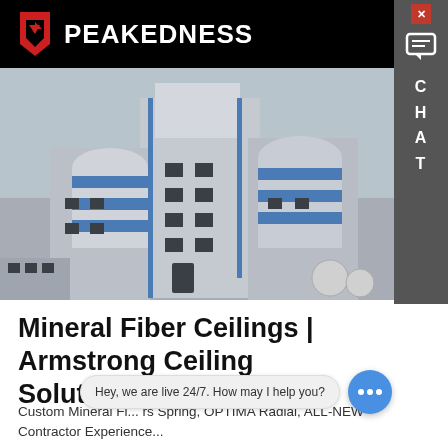PEAKEDNESS
[Figure (photo): Industrial building with large cylindrical silos with blue and white stripes, modern factory architecture against overcast sky]
Mineral Fiber Ceilings | Armstrong Ceiling Solutions
Custom Mineral Fi... rs Spring, OPTIMA Radial, ALL-NEW Contractor Experience...